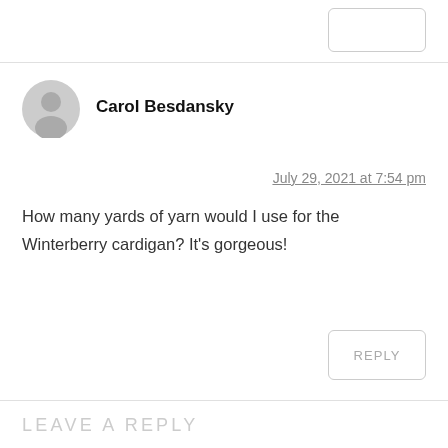[Figure (other): Partial reply button visible at top of page]
Carol Besdansky
[Figure (other): Gray circular user avatar icon]
July 29, 2021 at 7:54 pm
How many yards of yarn would I use for the Winterberry cardigan? It's gorgeous!
REPLY
LEAVE A REPLY